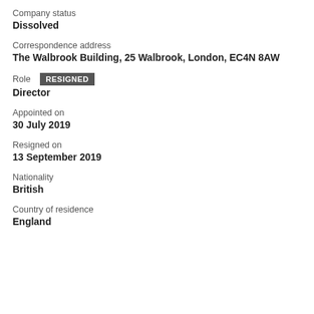Company status
Dissolved
Correspondence address
The Walbrook Building, 25 Walbrook, London, EC4N 8AW
Role RESIGNED
Director
Appointed on
30 July 2019
Resigned on
13 September 2019
Nationality
British
Country of residence
England